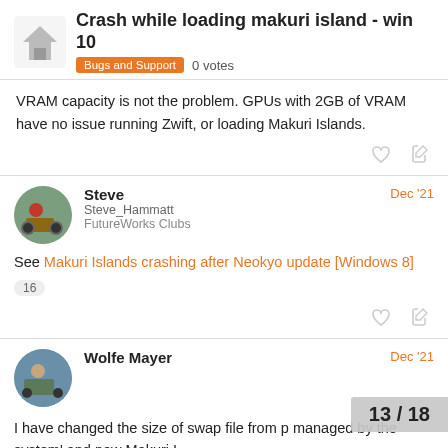Crash while loading makuri island - win 10 | Bugs and Support 0 votes
VRAM capacity is not the problem. GPUs with 2GB of VRAM have no issue running Zwift, or loading Makuri Islands.
Steve | Steve_Hammatt | FutureWorks Clubs | Dec '21
See Makuri Islands crashing after Neokyo update [Windows 8] 16
Wolfe Mayer | Dec '21
I have changed the size of swap file from p managed by the system' and now Makuri I
13 / 18